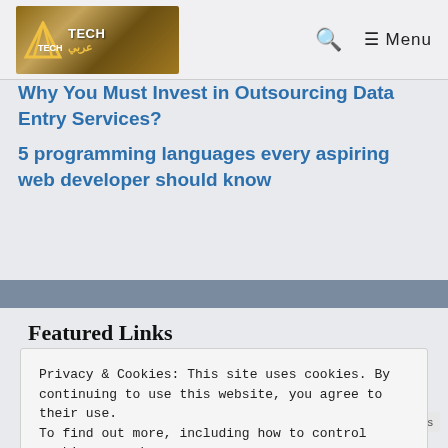Tech [logo] | Search | ≡ Menu
Why You Must Invest in Outsourcing Data Entry Services?
5 programming languages every aspiring web developer should know
Featured Links
Privacy & Cookies: This site uses cookies. By continuing to use this website, you agree to their use.
To find out more, including how to control cookies, see here:
Cookie Policy
Close and accept
Your link here?
Privacy · Terms